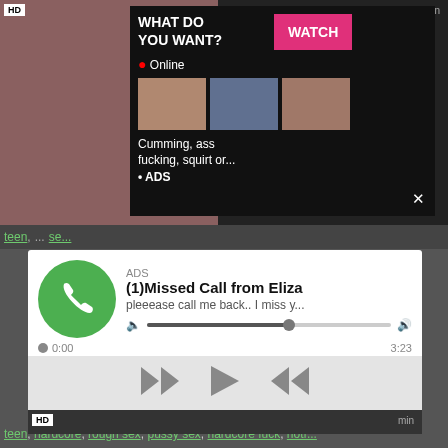[Figure (screenshot): Adult video website screenshot showing a video thumbnail, an advertisement popup with 'WHAT DO YOU WANT? WATCH' button, online status, thumbnails, and text 'Cumming, ass fucking, squirt or... ADS']
teen, ... se...
[Figure (screenshot): Audio advertisement popup: ADS, (1)Missed Call from Eliza, pleeease call me back.. I miss y..., with audio player controls showing 0:00 and 3:23, rewind, play, fast-forward buttons]
Legal Age Teenager Teen Hardcore Rough-sex
teen, hardcore, rough sex, pussy sex, hardcore fuck, hotf...